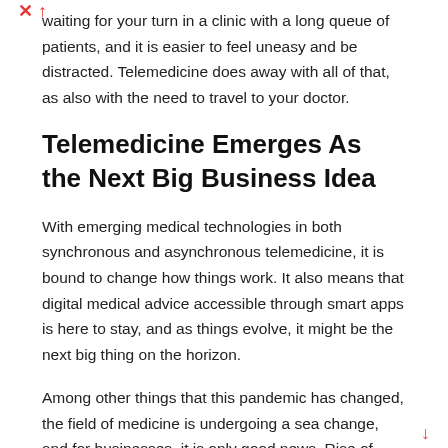waiting for your turn in a clinic with a long queue of patients, and it is easier to feel uneasy and be distracted. Telemedicine does away with all of that, as also with the need to travel to your doctor.
Telemedicine Emerges As the Next Big Business Idea
With emerging medical technologies in both synchronous and asynchronous telemedicine, it is bound to change how things work. It also means that digital medical advice accessible through smart apps is here to stay, and as things evolve, it might be the next big thing on the horizon.
Among other things that this pandemic has changed, the field of medicine is undergoing a sea change, and for businesses, it is only good news. Rise of highly professional medical apps is also making people more aware of health issues and even fitness.